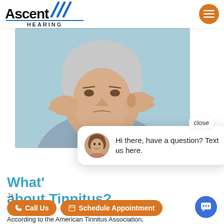[Figure (logo): Ascent Hearing logo with lightning bolt slash marks and blue underline, HEARING text below]
[Figure (photo): Middle-aged woman with short white hair pressing fingers to temples and ears, appearing distressed, teal/blue background]
close
[Figure (screenshot): Chat popup overlay with female avatar photo and text: Hi there, have a question? Text us here.]
What's the Truth about Tinnitus?
Ja...
📞 Call Us
📅 Schedule Appointment
According to the American Tinnitus Association,